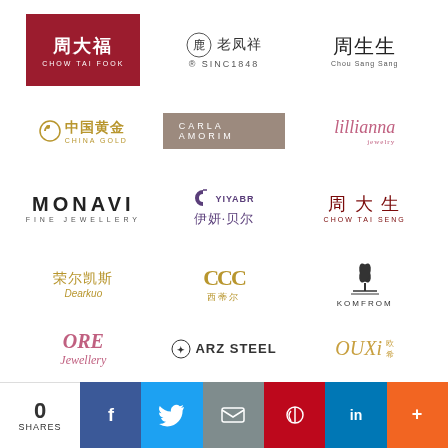[Figure (logo): Chow Tai Fook jewelry brand logo with Chinese characters and red background]
[Figure (logo): Lao Feng Xiang jewelry brand logo with Chinese characters and SINC1848 text]
[Figure (logo): Chow Sang Sang jewelry brand logo with large Chinese characters]
[Figure (logo): China Gold logo with golden Chinese characters and crescent icon]
[Figure (logo): Carla Amorim logo with taupe background and white text]
[Figure (logo): Lillianna Jewelry logo in pink cursive script]
[Figure (logo): Monavi Fine Jewellery logo in bold spaced letters]
[Figure (logo): YIYABR Chinese jewelry brand logo with crescent and Chinese characters]
[Figure (logo): Chow Tai Seng logo with Chinese characters in dark red]
[Figure (logo): Dearkuo jewelry brand logo with Chinese and italic English text]
[Figure (logo): CDE brand logo with stylized golden letters and Chinese text]
[Figure (logo): Komfrom brand logo with leaf/plant illustration]
[Figure (logo): ORE Jewellery logo in pink cursive style]
[Figure (logo): ARZ Steel brand logo with emblem and bold text]
[Figure (logo): OUXI jewelry brand logo in golden italic with Chinese characters]